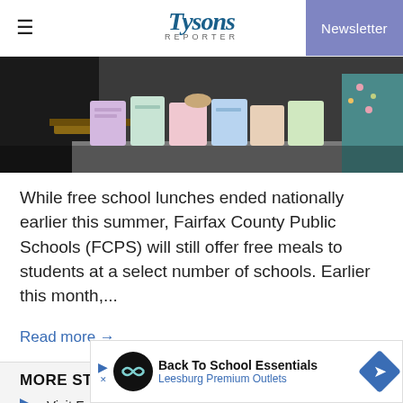Tysons Reporter | Newsletter
[Figure (photo): Photo of food items/lunch bags on a table, people visible in background]
While free school lunches ended nationally earlier this summer, Fairfax County Public Schools (FCPS) will still offer free meals to students at a select number of schools. Earlier this month,...
Read more →
MORE STORIES
Visit Fairfax Weighs in on the Futu...tery
[Figure (other): Advertisement banner: Back To School Essentials - Leesburg Premium Outlets]